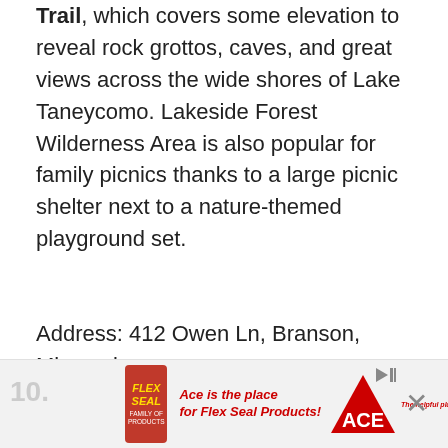Trail, which covers some elevation to reveal rock grottos, caves, and great views across the wide shores of Lake Taneycomo. Lakeside Forest Wilderness Area is also popular for family picnics thanks to a large picnic shelter next to a nature-themed playground set.
Address: 412 Owen Ln, Branson, Missouri
Official site:
https://www.bransonparksandrecreation.com/684/Lakeside-Forest-Wilderness-Area
[Figure (other): Advertisement banner for ACE Hardware featuring Flex Seal family of products. Red Flex Seal logo on left, text 'Ace is the place for Flex Seal Products!' in red, ACE Hardware triangle logo, and a close button.]